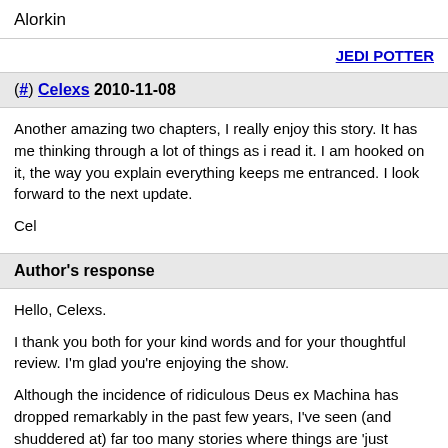Alorkin
JEDI POTTER
(#) Celexs 2010-11-08
Another amazing two chapters, I really enjoy this story. It has me thinking through a lot of things as i read it. I am hooked on it, the way you explain everything keeps me entranced. I look forward to the next update.

Cel
Author's response
Hello, Celexs.

I thank you both for your kind words and for your thoughtful review. I'm glad you're enjoying the show.

Although the incidence of ridiculous Deus ex Machina has dropped remarkably in the past few years, I've seen (and shuddered at) far too many stories where things are 'just assumed'. I prefer to let the audience know why I put this down.